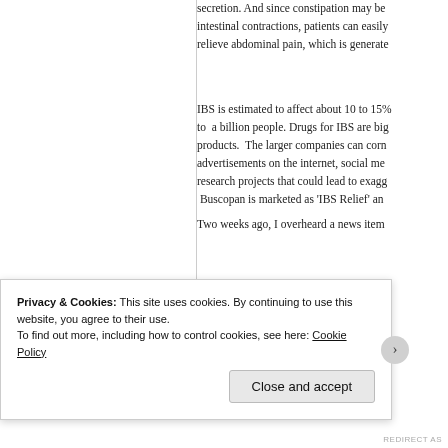secretion. And since constipation may be... intestinal contractions, patients can easily... relieve abdominal pain, which is generate...
IBS is estimated to affect about 10 to 15%... to a billion people. Drugs for IBS are big... products. The larger companies can corn... advertisements on the internet, social me... research projects that could lead to exagg... Buscopan is marketed as 'IBS Relief' an...
Two weeks ago, I overheard a news item...
Privacy & Cookies: This site uses cookies. By continuing to use this website, you agree to their use. To find out more, including how to control cookies, see here: Cookie Policy
Close and accept
REDIRECT AS